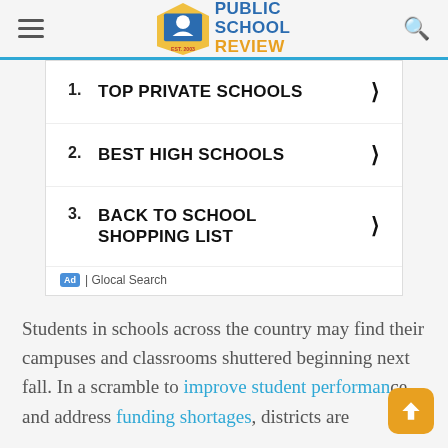PUBLIC SCHOOL REVIEW EST. 2003
1. TOP PRIVATE SCHOOLS
2. BEST HIGH SCHOOLS
3. BACK TO SCHOOL SHOPPING LIST
Ad | Glocal Search
Students in schools across the country may find their campuses and classrooms shuttered beginning next fall. In a scramble to improve student performance and address funding shortages, districts are